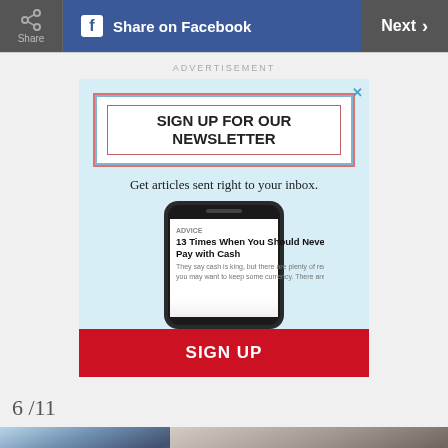Share  Share on Facebook  Next >
ADVERTISEMENT
[Figure (screenshot): Advertisement box with newsletter signup. Header reads 'SIGN UP FOR OUR NEWSLETTER', subtitle 'Get articles sent right to your inbox.' Shows a phone with article '13 Times When You Should Never Pay with Cash', and a red SIGN UP button.]
6 /11
[Figure (photo): Partial photo of a person wearing a striped shirt, cropped at bottom of page.]